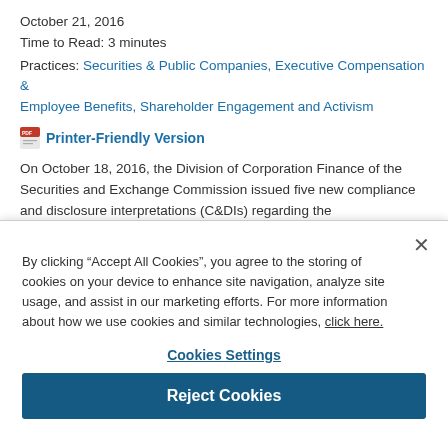October 21, 2016
Time to Read: 3 minutes
Practices: Securities & Public Companies, Executive Compensation & Employee Benefits, Shareholder Engagement and Activism
Printer-Friendly Version
On October 18, 2016, the Division of Corporation Finance of the Securities and Exchange Commission issued five new compliance and disclosure interpretations (C&DIs) regarding the
By clicking “Accept All Cookies”, you agree to the storing of cookies on your device to enhance site navigation, analyze site usage, and assist in our marketing efforts. For more information about how we use cookies and similar technologies, click here.
Cookies Settings
Reject Cookies